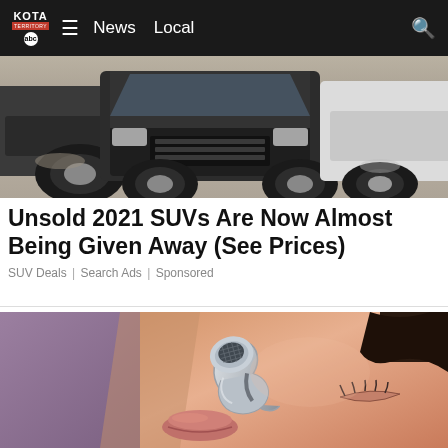KOTA TERRITORY abc | News | Local
[Figure (photo): Front bumper view of a dark SUV with another vehicle partially visible to the right, on a sandy/dusty surface]
Unsold 2021 SUVs Are Now Almost Being Given Away (See Prices)
SUV Deals | Search Ads | Sponsored
[Figure (photo): Close-up of a person wearing a small silver earpiece/hearing aid, eyes closed, lying on a purple pillow]